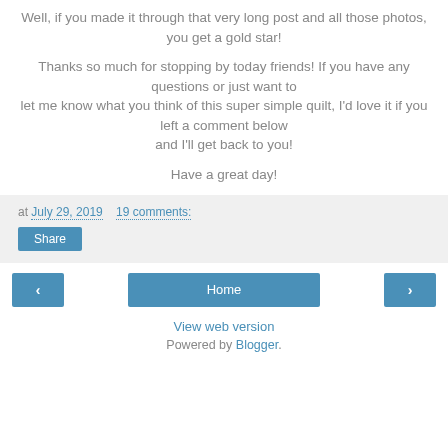Well, if you made it through that very long post and all those photos, you get a gold star!
Thanks so much for stopping by today friends!  If you have any questions or just want to let me know what you think of this super simple quilt, I'd love it if you left a comment below and I'll get back to you!
Have a great day!
at July 29, 2019    19 comments:
Share
‹
Home
›
View web version
Powered by Blogger.